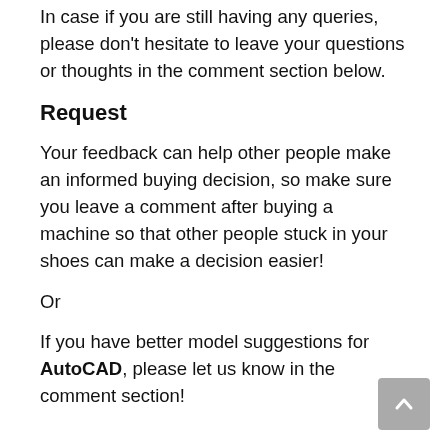In case if you are still having any queries, please don't hesitate to leave your questions or thoughts in the comment section below.
Request
Your feedback can help other people make an informed buying decision, so make sure you leave a comment after buying a machine so that other people stuck in your shoes can make a decision easier!
Or
If you have better model suggestions for AutoCAD, please let us know in the comment section!